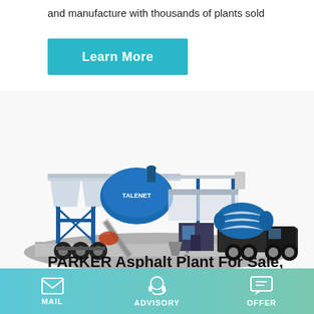and manufacture with thousands of plants sold
Learn More
[Figure (illustration): 3D illustration of a mobile concrete/asphalt batching plant with TALENET branding, featuring aggregate bins, mixer drum on truck, control room cabin, conveyor belt, and blue steel frame structure on a gray platform]
PARKER Asphalt Plant For Sale, Used PARKER Asphalt Plant
MAIL | ADVISORY | OFFER